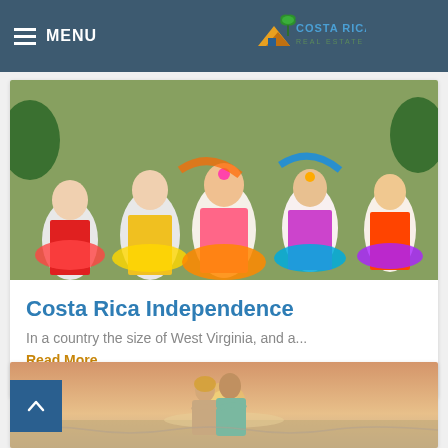MENU | Costa Rica Real Estate
[Figure (photo): Girls in colorful traditional Costa Rican folk dance costumes, dancing outdoors]
Costa Rica Independence
In a country the size of West Virginia, and a...
Read More
[Figure (photo): Older couple embracing on a beach at sunset]